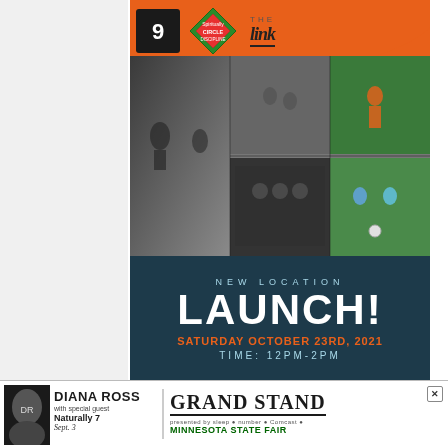[Figure (infographic): Event promotional flyer with sports collage photos, logos (9 Barber and Coffee, Circle of Discipline Spiritually, The Link), and event details for a new location launch.]
NEW LOCATION LAUNCH!
SATURDAY OCTOBER 23RD, 2021
TIME: 12PM-2PM
801 9TH STREET SE
MINNEAPOLIS, MN 55414
[Figure (infographic): Advertisement banner: Diana Ross with special guest Naturally 7, Sept. 3, Grand Stand, Minnesota State Fair]